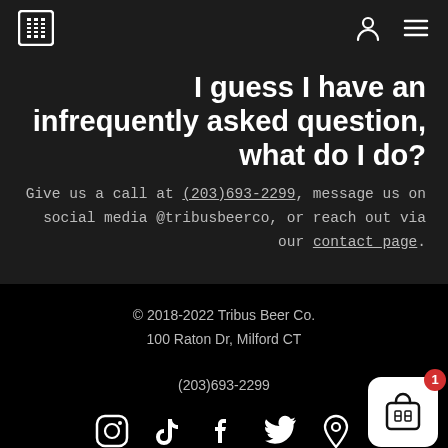Tribus Beer Co. navigation bar with logo and menu icons
I guess I have an infrequently asked question, what do I do?
Give us a call at (203)693-2299, message us on social media @tribusbeerco, or reach out via our contact page.
© 2018-2022 Tribus Beer Co.
100 Raton Dr, Milford CT
(203)693-2299
[Figure (infographic): Row of social media icons: Instagram, TikTok, Facebook, Twitter, Location pin, and a shopping cart with badge showing 1]